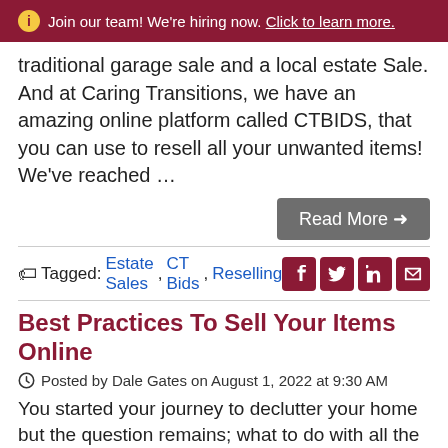ⓘ Join our team! We're hiring now. Click to learn more.
traditional garage sale and a local estate Sale. And at Caring Transitions, we have an amazing online platform called CTBIDS, that you can use to resell all your unwanted items! We've reached …
Read More →
Tagged: Estate Sales, CT Bids, Reselling
Best Practices To Sell Your Items Online
Posted by Dale Gates on August 1, 2022 at 9:30 AM
You started your journey to declutter your home but the question remains; what to do with all the stuff you want to get rid of now? While donating is a great option, you might feel that you've spent time and money over the years acquiring it all. So you've decided to sell your items online. Maybe you're not